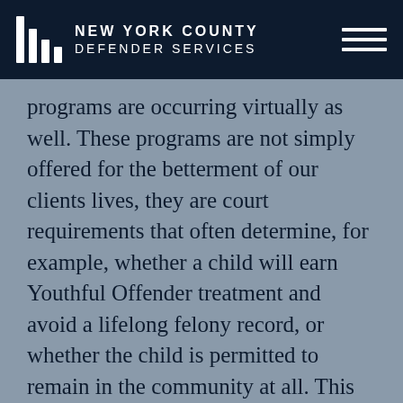NEW YORK COUNTY DEFENDER SERVICES
programs are occurring virtually as well. These programs are not simply offered for the betterment of our clients lives, they are court requirements that often determine, for example, whether a child will earn Youthful Offender treatment and avoid a lifelong felony record, or whether the child is permitted to remain in the community at all. This new virtual world creates a variety of challenges for all system players, but it presents particular obstacles for youth, and it is crucial that the city address these obstacles if the criminal and juvenile justice systems are going to uphold